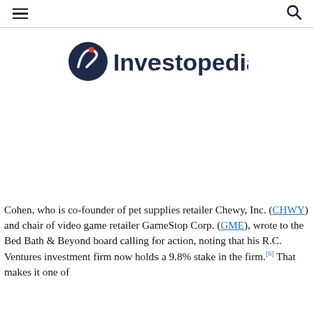Investopedia
[Figure (logo): Investopedia logo with circular blue icon containing stylized i and orange dot, and 'Investopedia' wordmark in dark navy text]
Cohen, who is co-founder of pet supplies retailer Chewy, Inc. (CHWY) and chair of video game retailer GameStop Corp. (GME), wrote to the Bed Bath & Beyond board calling for action, noting that his R.C. Ventures investment firm now holds a 9.8% stake in the firm.[6] That makes it one of